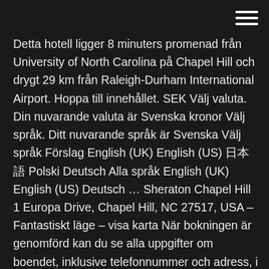Detta hotell ligger 8 minuters promenad från University of North Carolina på Chapel Hill och drygt 29 km från Raleigh-Durham International Airport. Hoppa till innehållet. SEK Välj valuta. Din nuvarande valuta är Svenska kronor Välj språk. Ditt nuvarande språk är Svenska Välj språk Förslag English (UK) English (US) 日本語 Polski Deutsch Alla språk English (UK) English (US) Deutsch … Sheraton Chapel Hill 1 Europa Drive, Chapel Hill, NC 27517, USA – Fantastiskt läge – visa karta När bokningen är genomförd kan du se alla uppgifter om boendet, inklusive telefonnummer och adress, i din bokningsbekräftelse och på ditt konto. 7,9 . Bra . 68 recensioner . The room that we stayed in was clean and very nicely decorated with newer furniture and designs. It's important … Downtown Chapel Hill. Home / Downtown